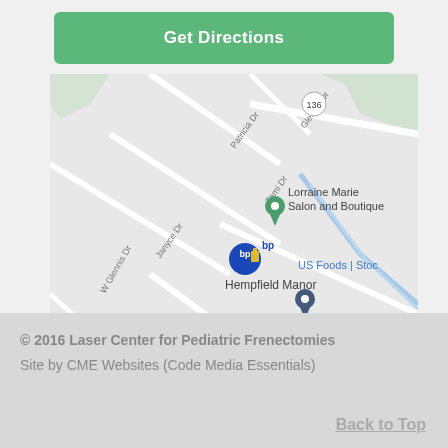[Figure (map): Google Maps screenshot showing Hempfield Manor area with nearby landmarks including Lorraine Marie Salon and Boutique, bp gas station, US Foods Stock, General Carbide, and road labels including Glennis Dr, Patricia Dr, Tami Dr, Janyce Dr, W Glennis Dr, route 136, and ngate Rd.]
© 2016 Laser Center for Pediatric Frenectomies
Site by CME Websites (Code Media Essentials)
Back to Top